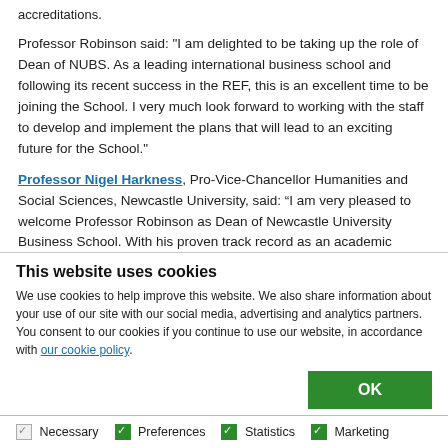accreditations.
Professor Robinson said: "I am delighted to be taking up the role of Dean of NUBS.  As a leading international business school and following its recent success in the REF, this is an excellent time to be joining the School.  I very much look forward to working with the staff to develop and implement the plans that will lead to an exciting future for the School."
Professor Nigel Harkness, Pro-Vice-Chancellor Humanities and Social Sciences, Newcastle University, said: “I am very pleased to welcome Professor Robinson as Dean of Newcastle University Business School. With his proven track record as an academic leader, he brings invaluable skills and experience as we continue
This website uses cookies
We use cookies to help improve this website. We also share information about your use of our site with our social media, advertising and analytics partners. You consent to our cookies if you continue to use our website, in accordance with our cookie policy.
OK
Necessary   Preferences   Statistics   Marketing